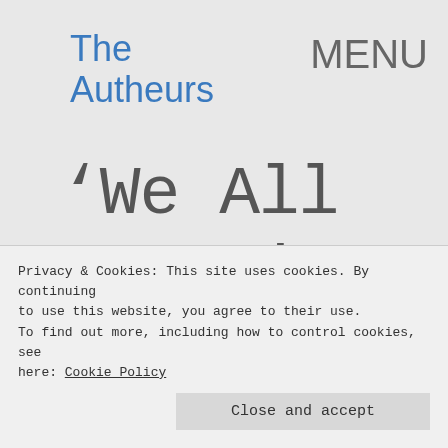The Autheurs
MENU
‘We All Have it Coming,
Privacy & Cookies: This site uses cookies. By continuing to use this website, you agree to their use.
To find out more, including how to control cookies, see here: Cookie Policy
Close and accept